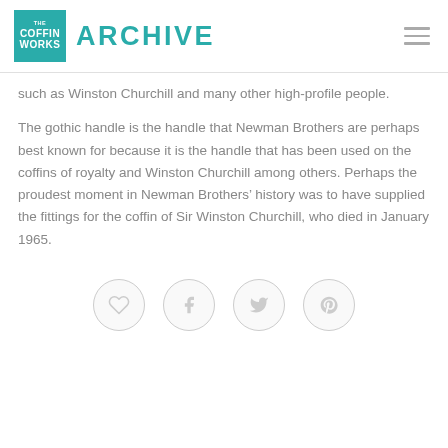THE COFFIN WORKS ARCHIVE
such as Winston Churchill and many other high-profile people.
The gothic handle is the handle that Newman Brothers are perhaps best known for because it is the handle that has been used on the coffins of royalty and Winston Churchill among others. Perhaps the proudest moment in Newman Brothers’ history was to have supplied the fittings for the coffin of Sir Winston Churchill, who died in January 1965.
[Figure (other): Row of four circular social media icon buttons: heart (like), Facebook, Twitter, Pinterest]